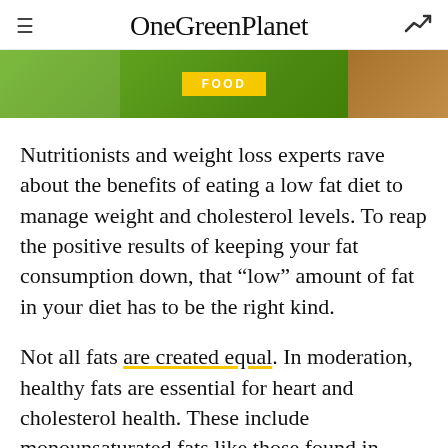OneGreenPlanet
[Figure (photo): Green and earthy food banner image with a yellow FOOD badge in the center]
Nutritionists and weight loss experts rave about the benefits of eating a low fat diet to manage weight and cholesterol levels. To reap the positive results of keeping your fat consumption down, that “low” amount of fat in your diet has to be the right kind.
Not all fats are created equal. In moderation, healthy fats are essential for heart and cholesterol health. These include monounsaturated fats like those found in olive oil or avocados, and